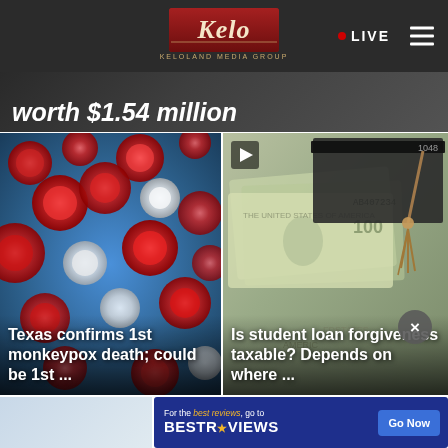KELOLAND Media Group — LIVE
worth $1.54 million
[Figure (photo): Microscope image of monkeypox virus cells — red and white circular particles on blue background]
Texas confirms 1st monkeypox death; could be 1st ...
[Figure (photo): Graduation cap on top of rolled US dollar bills, student loan concept image with video play icon]
Is student loan forgiveness taxable? Depends on where ...
[Figure (other): Advertisement banner: For the best reviews, go to BESTREVIEWS — Go Now button]